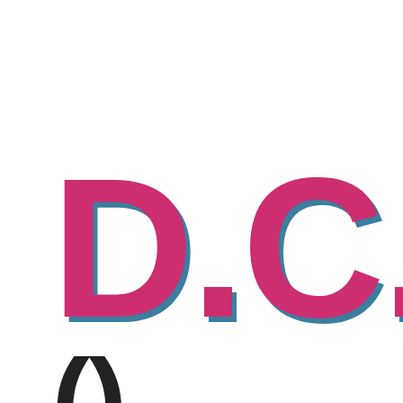[Figure (logo): Large bold text 'D.C.' in pink/magenta color with a teal/blue shadow offset effect, displayed as a logo or title card. Below, partially visible text in dark color at the bottom of the page.]